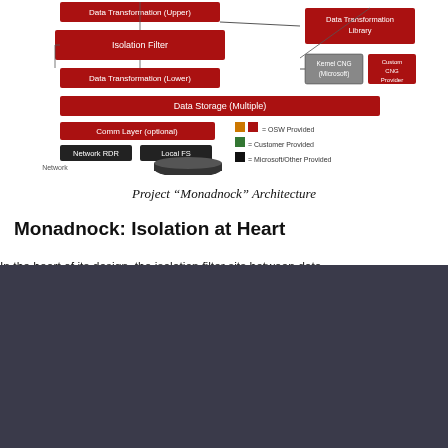[Figure (schematic): Project Monadnock Architecture diagram showing layered components: Data Transformation (Upper), Isolation Filter, Data Transformation (Lower), Data Storage (Multiple), Comm Layer (optional), Network RDR, Local FS, Network, Data Transformation Library, Kernel CNG (Microsoft), Custom CNG Provider. Legend shows orange/red = OSW Provided, green = Customer Provided, black = Microsoft/Other Provided.]
Project “Monadnock” Architecture
Monadnock: Isolation at Heart
In the heart of its design, the isolation filter sits between data...
This site uses cookies to improve your experience. Click OK to indicate your consent.
OK
COOKIE AND PRIVACY POLICY